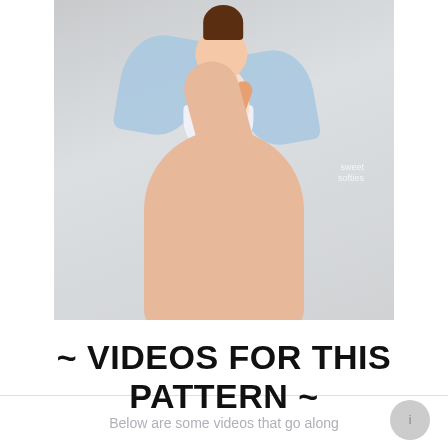[Figure (photo): A small crocheted angel/fairy amigurumi doll with brown hair in a bun, peach-colored face and body, white dress, light blue wings, and orange arms, sitting on top of a person's finger. Background is light gray. Watermark reads 'sweet softies' in the lower right.]
~ VIDEOS FOR THIS PATTERN ~
Below are some videos that go along